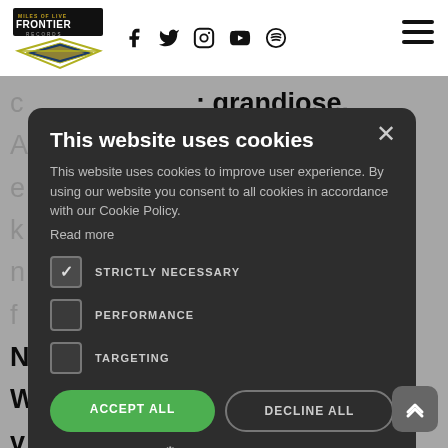[Figure (screenshot): Website header with Frontier Records logo, social media icons (Facebook, Twitter, Instagram, YouTube, Spotify), and hamburger menu]
grandiose. roduction, Magnus be soundtrack some e opera. It's a ent and e Cowan (Seven Spires, Sascha Paeths Masters Of
This website uses cookies

This website uses cookies to improve user experience. By using our website you consent to all cookies in accordance with our Cookie Policy.
Read more

STRICTLY NECESSARY
PERFORMANCE
TARGETING

ACCEPT ALL  DECLINE ALL

SHOW DETAILS